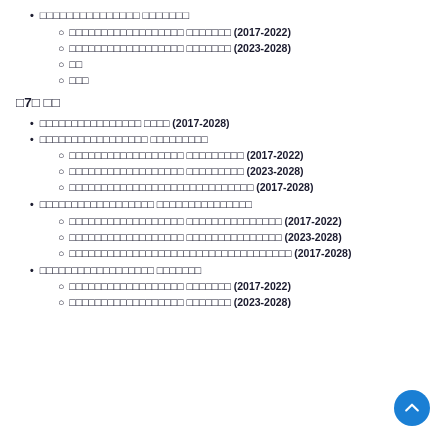□□□□□□□□□□□□□□□ □□□□□□□
□□□□□□□□□□□□□□□□□□ □□□□□□□ (2017-2022)
□□□□□□□□□□□□□□□□□□ □□□□□□□ (2023-2028)
□□
□□□
□7□ □□
□□□□□□□□□□□□□□□□ □□□□ (2017-2028)
□□□□□□□□□□□□□□□□□ □□□□□□□□□
□□□□□□□□□□□□□□□□□□ □□□□□□□□□ (2017-2022)
□□□□□□□□□□□□□□□□□□ □□□□□□□□□ (2023-2028)
□□□□□□□□□□□□□□□□□□□□□□□□□□□□□ (2017-2028)
□□□□□□□□□□□□□□□□□□ □□□□□□□□□□□□□□□
□□□□□□□□□□□□□□□□□□ □□□□□□□□□□□□□□□ (2017-2022)
□□□□□□□□□□□□□□□□□□ □□□□□□□□□□□□□□□ (2023-2028)
□□□□□□□□□□□□□□□□□□□□□□□□□□□□□□□□□□□ (2017-2028)
□□□□□□□□□□□□□□□□□□ □□□□□□□
□□□□□□□□□□□□□□□□□□ □□□□□□□ (2017-2022)
□□□□□□□□□□□□□□□□□□ □□□□□□□ (2023-2028)